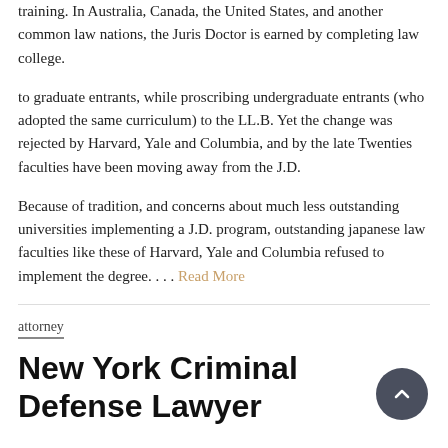training. In Australia, Canada, the United States, and another common law nations, the Juris Doctor is earned by completing law college.
to graduate entrants, while proscribing undergraduate entrants (who adopted the same curriculum) to the LL.B. Yet the change was rejected by Harvard, Yale and Columbia, and by the late Twenties faculties have been moving away from the J.D.
Because of tradition, and concerns about much less outstanding universities implementing a J.D. program, outstanding japanese law faculties like these of Harvard, Yale and Columbia refused to implement the degree. . . . Read More
attorney
New York Criminal Defense Lawyer